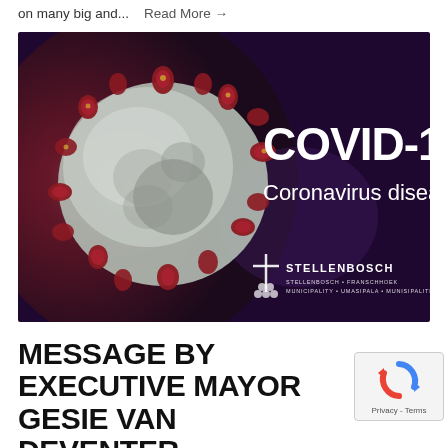on many big and...   Read More →
[Figure (photo): COVID-19 Coronavirus disease image showing a virus particle on the left against a dark purple/maroon background, with text 'COVID-19 Coronavirus disease' on the right and the Stellenbosch Municipality logo at the bottom right.]
MESSAGE BY EXECUTIVE MAYOR GESIE VAN DEVENTER